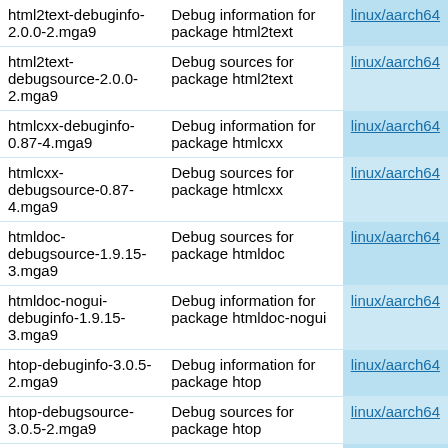| Package | Description | Arch |
| --- | --- | --- |
| html2text-debuginfo-2.0.0-2.mga9 | Debug information for package html2text | linux/aarch64 |
| html2text-debugsource-2.0.0-2.mga9 | Debug sources for package html2text | linux/aarch64 |
| htmlcxx-debuginfo-0.87-4.mga9 | Debug information for package htmlcxx | linux/aarch64 |
| htmlcxx-debugsource-0.87-4.mga9 | Debug sources for package htmlcxx | linux/aarch64 |
| htmldoc-debugsource-1.9.15-3.mga9 | Debug sources for package htmldoc | linux/aarch64 |
| htmldoc-nogui-debuginfo-1.9.15-3.mga9 | Debug information for package htmldoc-nogui | linux/aarch64 |
| htop-debuginfo-3.0.5-2.mga9 | Debug information for package htop | linux/aarch64 |
| htop-debugsource-3.0.5-2.mga9 | Debug sources for package htop | linux/aarch64 |
| http-parser-debugsource-2.9.4-1.mga8 | Debug sources for package http-parser | linux/aarch64 |
| httperf-debuginfo-0.9.0-10.mga8 | Debug information for package httperf | linux/aarch64 |